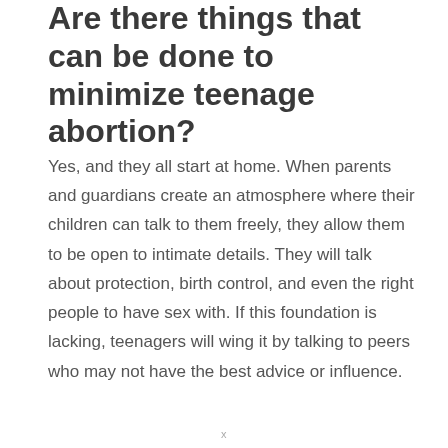Are there things that can be done to minimize teenage abortion?
Yes, and they all start at home. When parents and guardians create an atmosphere where their children can talk to them freely, they allow them to be open to intimate details. They will talk about protection, birth control, and even the right people to have sex with. If this foundation is lacking, teenagers will wing it by talking to peers who may not have the best advice or influence.
x